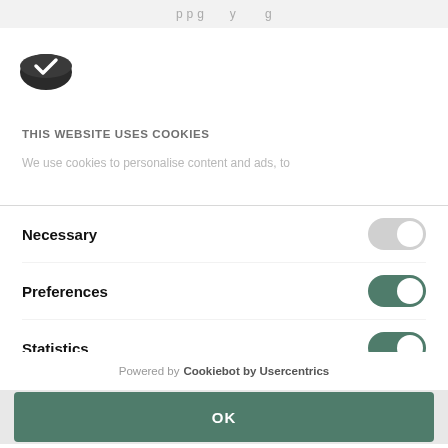[Figure (logo): Cookiebot logo - a dark elliptical cookie shape with a checkmark]
THIS WEBSITE USES COOKIES
We use cookies to personalise content and ads, to
Necessary
Preferences
Statistics
OK
Powered by Cookiebot by Usercentrics
than once.